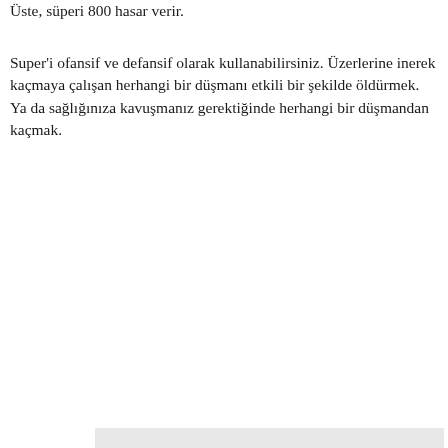Üste, süperi 800 hasar verir.
Super'i ofansif ve defansif olarak kullanabilirsiniz. Üzerlerine inerek kaçmaya çalışan herhangi bir düşmanı etkili bir şekilde öldürmek. Ya da sağlığınıza kavuşmanız gerektiğinde herhangi bir düşmandan kaçmak.